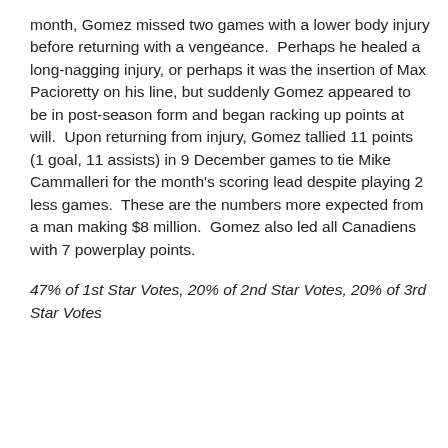month, Gomez missed two games with a lower body injury before returning with a vengeance.  Perhaps he healed a long-nagging injury, or perhaps it was the insertion of Max Pacioretty on his line, but suddenly Gomez appeared to be in post-season form and began racking up points at will.  Upon returning from injury, Gomez tallied 11 points (1 goal, 11 assists) in 9 December games to tie Mike Cammalleri for the month's scoring lead despite playing 2 less games.  These are the numbers more expected from a man making $8 million.  Gomez also led all Canadiens with 7 powerplay points.
47% of 1st Star Votes, 20% of 2nd Star Votes, 20% of 3rd Star Votes